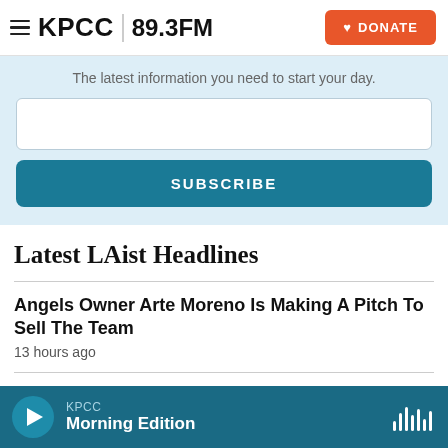KPCC 89.3FM  DONATE
The latest information you need to start your day.
SUBSCRIBE
Latest LAist Headlines
Angels Owner Arte Moreno Is Making A Pitch To Sell The Team
13 hours ago
KPCC Morning Edition